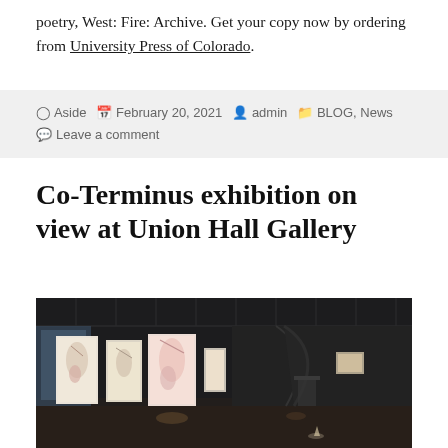poetry, West: Fire: Archive. Get your copy now by ordering from University Press of Colorado.
Aside  February 20, 2021  admin  BLOG, News  Leave a comment
Co-Terminus exhibition on view at Union Hall Gallery
[Figure (photo): Interior of Union Hall Gallery showing a dark-walled exhibition space with large illuminated artworks on panels and scattered overhead industrial lighting. The floor is dark and polished. Several large vertical canvases are displayed along the left and center walls.]